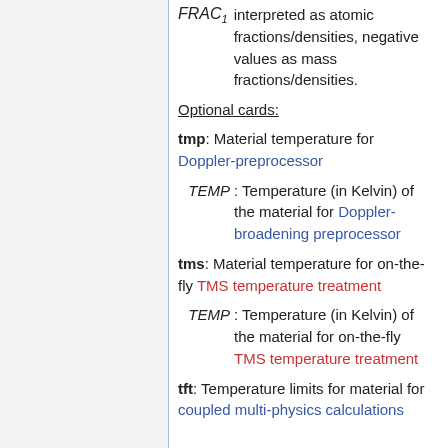FRAC_1 interpreted as atomic fractions/densities, negative values as mass fractions/densities.
Optional cards:
tmp: Material temperature for Doppler-preprocessor
TEMP : Temperature (in Kelvin) of the material for Doppler-broadening preprocessor
tms: Material temperature for on-the-fly TMS temperature treatment
TEMP : Temperature (in Kelvin) of the material for on-the-fly TMS temperature treatment
tft: Temperature limits for material for coupled multi-physics calculations